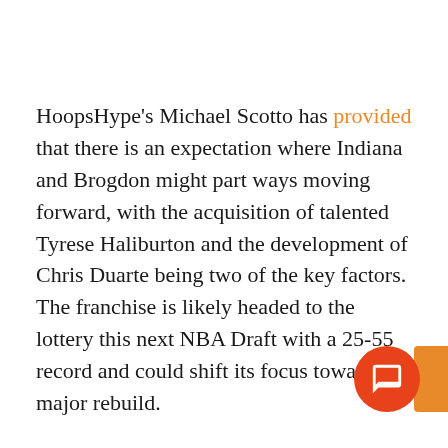HoopsHype's Michael Scotto has provided that there is an expectation where Indiana and Brogdon might part ways moving forward, with the acquisition of talented Tyrese Haliburton and the development of Chris Duarte being two of the key factors. The franchise is likely headed to the lottery this next NBA Draft with a 25-55 record and could shift its focus towards a major rebuild.
As such, if Indy will commit themselves to their youth movement, sticking around the 29-year-old Brogdon is a less ideal situation to have with. Though it'll be difficult to move the hefty $65.5 million left in his contract due to durability issues, certain teams might still entertain a transaction and consider acquiring him as a reliable ball-handler and